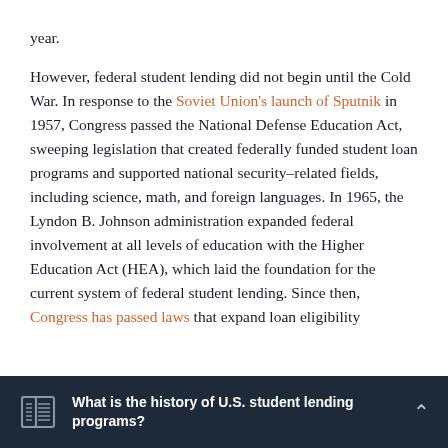year.

However, federal student lending did not begin until the Cold War. In response to the Soviet Union's launch of Sputnik in 1957, Congress passed the National Defense Education Act, sweeping legislation that created federally funded student loan programs and supported national security–related fields, including science, math, and foreign languages. In 1965, the Lyndon B. Johnson administration expanded federal involvement at all levels of education with the Higher Education Act (HEA), which laid the foundation for the current system of federal student lending. Since then, Congress has passed laws that expand loan eligibility
What is the history of U.S. student lending programs?